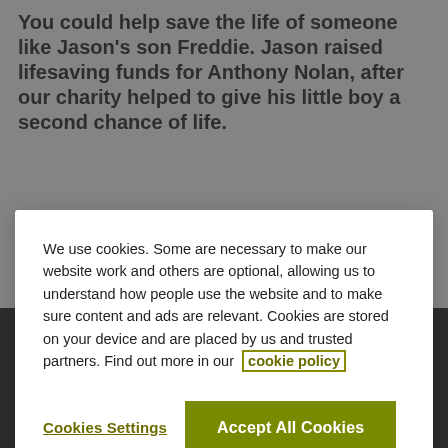You could help save the life of someone like Jason's son Freddie. Jason raised lifesaving funds for Anthony Nolan, after our charity helped to give his little boy a second chance of life.
We use cookies. Some are necessary to make our website work and others are optional, allowing us to understand how people use the website and to make sure content and ads are relevant. Cookies are stored on your device and are placed by us and trusted partners. Find out more in our cookie policy
Cookies Settings
Accept All Cookies